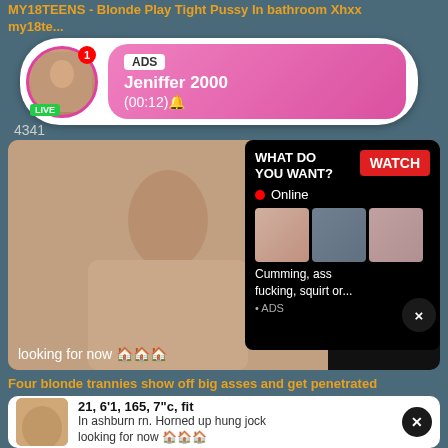MY18TEENS - Blonde Play Tight Pussy In bathroom Xhxx my18te...
[Figure (screenshot): Advertisement notification bubble with profile photo, LIVE badge, ADS label, name Jeniffer 2000, time (00:12)]
4341
[Figure (screenshot): Adult content advertisement overlay with WHAT DO YOU WANT? text, WATCH button, Online indicator, thumbnail images, text: Cumming, ass fucking, squirt or... • ADS]
looking for now 🏠🏠🏠
Four blonde trannies show off big asses and get penetrated
[Figure (screenshot): Pop-up ad with adult content image and text: 21, 6'1, 165, 7"c, fit / In ashburn rn. Horned up hung jock looking for now]